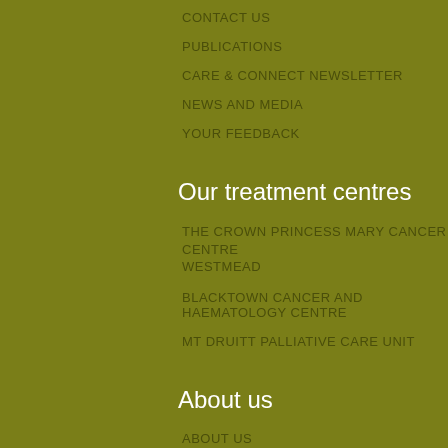CONTACT US
PUBLICATIONS
CARE & CONNECT NEWSLETTER
NEWS AND MEDIA
YOUR FEEDBACK
Our treatment centres
THE CROWN PRINCESS MARY CANCER CENTRE WESTMEAD
BLACKTOWN CANCER AND HAEMATOLOGY CENTRE
MT DRUITT PALLIATIVE CARE UNIT
About us
ABOUT US
CONTACT US
THE DANISH CONNECTION
NEWS AND MEDIA
OUR MEDICAL STAFF